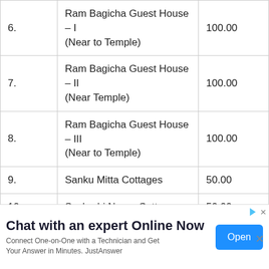| No. | Name | Price |
| --- | --- | --- |
| 6. | Ram Bagicha Guest House – I
(Near to Temple) | 100.00 |
| 7. | Ram Bagicha Guest House – II
(Near Temple) | 100.00 |
| 8. | Ram Bagicha Guest House – III
(Near to Temple) | 100.00 |
| 9. | Sanku Mitta Cottages | 50.00 |
| 10. | Seshadri Nagar Cottages | 50.00 |
Chat with an expert Online Now. Connect One-on-One with a Technician and Get Your Answer in Minutes. JustAnswer